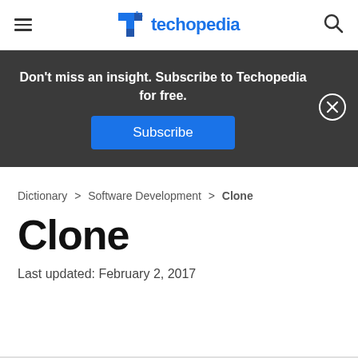techopedia
[Figure (infographic): Dark subscription banner with text 'Don't miss an insight. Subscribe to Techopedia for free.' and a blue Subscribe button, with a close (X) button on the right.]
Dictionary > Software Development > Clone
Clone
Last updated: February 2, 2017